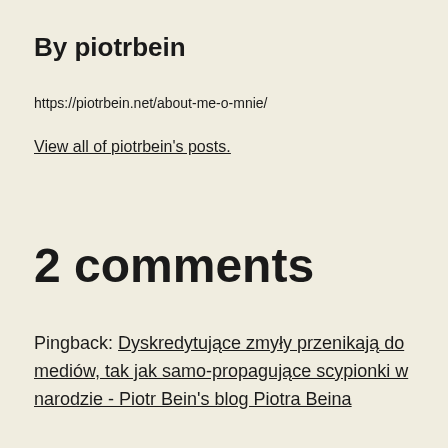By piotrbein
https://piotrbein.net/about-me-o-mnie/
View all of piotrbein's posts.
2 comments
Pingback: Dyskredytujące zmyły przenikają do mediów, tak jak samo-propagujące scypionki w narodzie - Piotr Bein's blog Piotra Beina